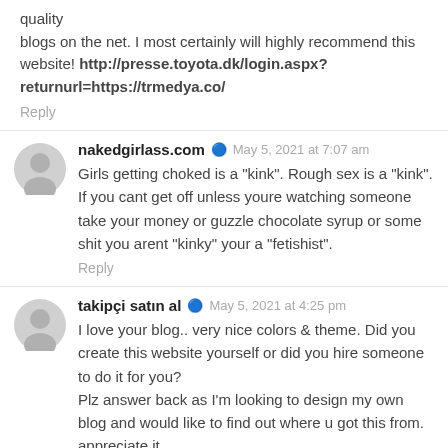quality
blogs on the net. I most certainly will highly recommend this website! http://presse.toyota.dk/login.aspx?returnurl=https://trmedya.co/
Reply
nakedgirlass.com  May 5, 2021 at 7:07 am
Girls getting choked is a "kink". Rough sex is a "kink". If you cant get off unless youre watching someone take your money or guzzle chocolate syrup or some shit you arent "kinky" your a "fetishist".
Reply
takipçi satın al  May 5, 2021 at 4:25 pm
I love your blog.. very nice colors & theme. Did you create this website yourself or did you hire someone to do it for you?
Plz answer back as I'm looking to design my own blog and would like to find out where u got this from.
appreciate it
Reply